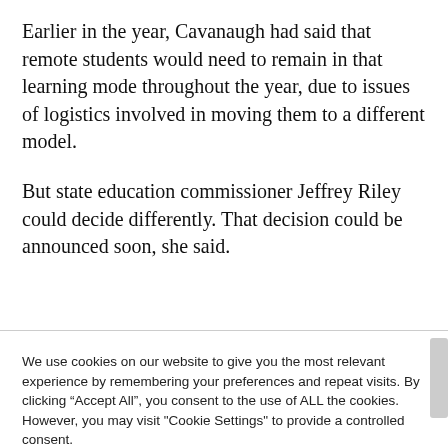Earlier in the year, Cavanaugh had said that remote students would need to remain in that learning mode throughout the year, due to issues of logistics involved in moving them to a different model.
But state education commissioner Jeffrey Riley could decide differently. That decision could be announced soon, she said.
We use cookies on our website to give you the most relevant experience by remembering your preferences and repeat visits. By clicking “Accept All”, you consent to the use of ALL the cookies. However, you may visit “Cookie Settings” to provide a controlled consent.